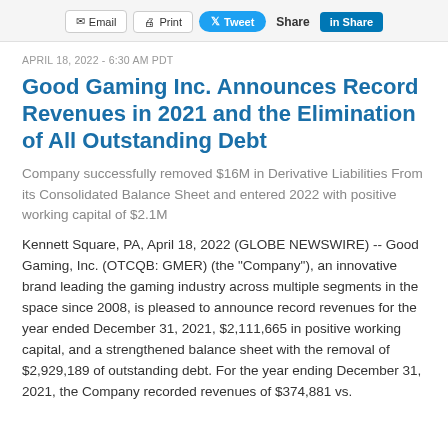Email  Print  Tweet  Share  in Share
APRIL 18, 2022 - 6:30 AM PDT
Good Gaming Inc. Announces Record Revenues in 2021 and the Elimination of All Outstanding Debt
Company successfully removed $16M in Derivative Liabilities From its Consolidated Balance Sheet and entered 2022 with positive working capital of $2.1M
Kennett Square, PA, April 18, 2022 (GLOBE NEWSWIRE) -- Good Gaming, Inc. (OTCQB: GMER) (the "Company"), an innovative brand leading the gaming industry across multiple segments in the space since 2008, is pleased to announce record revenues for the year ended December 31, 2021, $2,111,665 in positive working capital, and a strengthened balance sheet with the removal of $2,929,189 of outstanding debt. For the year ending December 31, 2021, the Company recorded revenues of $374,881 vs.